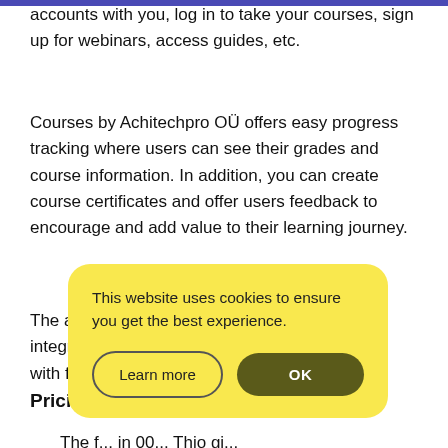Users can create accounts with you, log in to take your courses, sign up for webinars, access guides, etc.
Courses by Achitechpro OÜ offers easy progress tracking where users can see their grades and course information. In addition, you can create course certificates and offer users feedback to encourage and add value to their learning journey.
The a... a integr... ss with f...
Prici...
The f... in 00... Thio gi...
[Figure (screenshot): Cookie consent dialog overlay with yellow background. Text reads: 'This website uses cookies to ensure you get the best experience.' Two buttons: 'Learn more' (outlined) and 'OK' (dark olive/brown filled).]